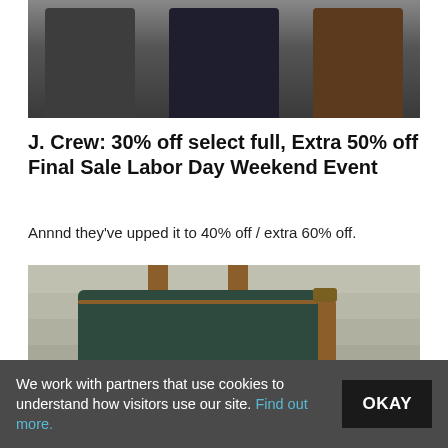[Figure (photo): Three men standing, partially cropped — one in dark jacket on left, one in dark suit in center, one in brown jacket on right]
J. Crew: 30% off select full, Extra 50% off Final Sale Labor Day Weekend Event
Annnd they've upped it to 40% off / extra 60% off.
[Figure (photo): A dark green leather briefcase/bag with brown leather handles and shoulder strap, sitting on stone steps]
We work with partners that use cookies to understand how visitors use our site. Find out more.